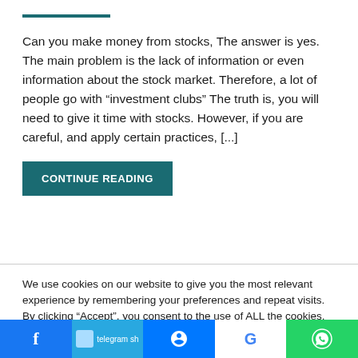Can you make money from stocks, The answer is yes. The main problem is the lack of information or even information about the stock market. Therefore, a lot of people go with “investment clubs” The truth is, you will need to give it time with stocks. However, if you are careful, and apply certain practices, [...]
CONTINUE READING
We use cookies on our website to give you the most relevant experience by remembering your preferences and repeat visits. By clicking “Accept”, you consent to the use of ALL the cookies.
Cookie settings
ACCEPT